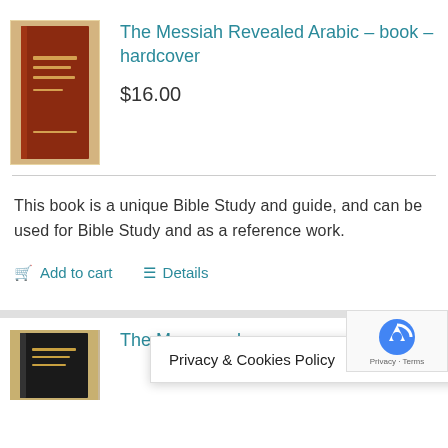[Figure (photo): Book cover of The Messiah Revealed Arabic hardcover, dark red/brown cover]
The Messiah Revealed Arabic – book – hardcover
$16.00
This book is a unique Bible Study and guide, and can be used for Bible Study and as a reference work.
Add to cart
Details
[Figure (photo): Book cover of second product, partially visible]
The Mess... – bo...
Privacy & Cookies Policy